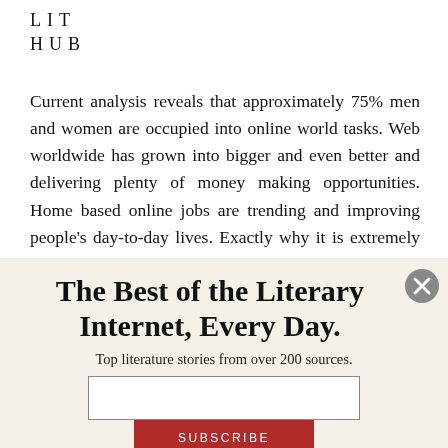LIT
HUB
Current analysis reveals that approximately 75% men and women are occupied into online world tasks. Web worldwide has grown into bigger and even better and delivering plenty of money making opportunities. Home based online jobs are trending and improving people's day-to-day lives. Exactly why it is extremely popular? Simply because it grants you to do the job from anywhere and any time. You are able to get much more time to dedicate with all your family members and can plan out trips for getaways. Persons are generating great earnings of $21000 in one week by utilizing the efficient and intelligent
The Best of the Literary Internet, Every Day.
Top literature stories from over 200 sources.